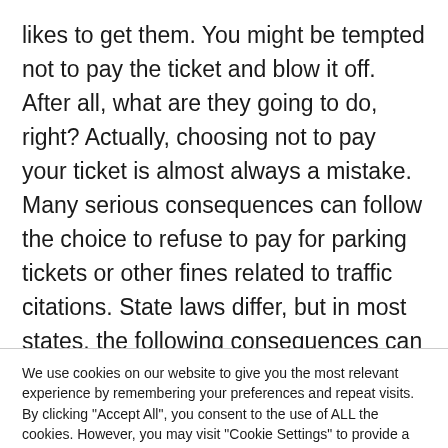likes to get them. You might be tempted not to pay the ticket and blow it off. After all, what are they going to do, right? Actually, choosing not to pay your ticket is almost always a mistake. Many serious consequences can follow the choice to refuse to pay for parking tickets or other fines related to traffic citations. State laws differ, but in most states, the following consequences can arise from a failure
We use cookies on our website to give you the most relevant experience by remembering your preferences and repeat visits. By clicking "Accept All", you consent to the use of ALL the cookies. However, you may visit "Cookie Settings" to provide a controlled consent.